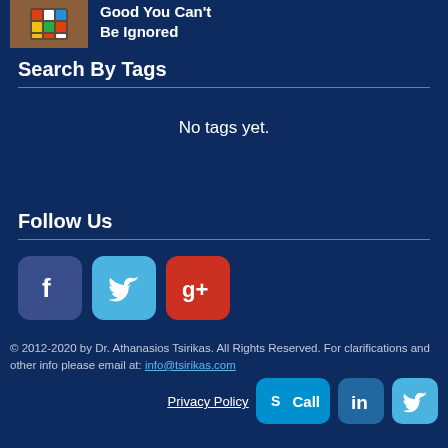[Figure (photo): Thumbnail image of a Rubik's cube with article title 'Good You Can't Be Ignored']
Good You Can't Be Ignored
Search By Tags
No tags yet.
Follow Us
[Figure (logo): Facebook, Twitter, and Google+ social media icons]
© 2012-2020 by Dr. Athanasios Tsirikas. All Rights Reserved. For clarifications and other info please email at: info@tsirikas.com
Privacy Policy
[Figure (logo): Skype Call button, LinkedIn icon, and Twitter icon]